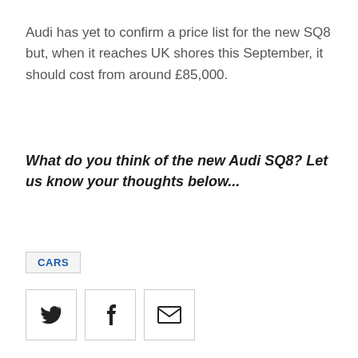Audi has yet to confirm a price list for the new SQ8 but, when it reaches UK shores this September, it should cost from around £85,000.
What do you think of the new Audi SQ8? Let us know your thoughts below...
CARS
[Figure (other): Social sharing icons: Twitter bird icon, Facebook f icon, email envelope icon — each in a square bordered box]
[Figure (other): Comment count bubble showing 0 with a dropdown arrow]